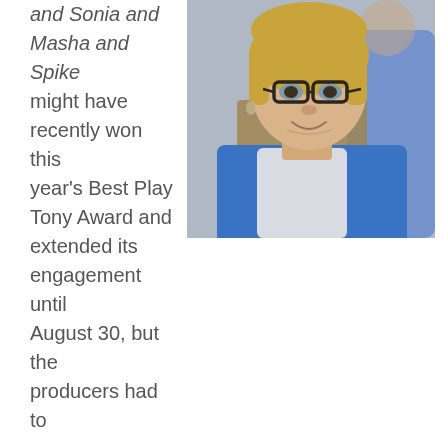and Sonia and Masha and Spike might have recently won this year's Best Play Tony Award and extended its engagement until August 30, but the producers had to find a replacement for one of its main cast members, Sigourney Weaver, who is departing to work on other
[Figure (photo): A blonde woman wearing glasses and a blue sleeveless top smiling, with someone in a blue shirt blurred in the background.]